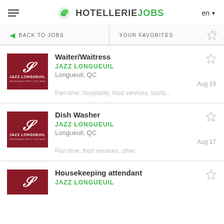HOTELLERIE JOBS  en
BACK TO JOBS   YOUR FAVORITES
Waiter/Waitress
JAZZ LONGUEUIL
Longueuil, QC
Aug 19
Part-time, hospitality, food services, touris...
Dish Washer
JAZZ LONGUEUIL
Longueuil, QC
Aug 17
Part-time, food services, other
Housekeeping attendant
JAZZ LONGUEUIL